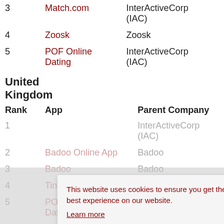| Rank | App | Parent Company |
| --- | --- | --- |
| 3 | Match.com | InterActiveCorp (IAC) |
| 4 | Zoosk | Zoosk |
| 5 | POF Online Dating | InterActiveCorp (IAC) |
United Kingdom
| Rank | App | Parent Company |
| --- | --- | --- |
| 1 |  | InterActiveCorp (IAC) |
| 2 | Badoo Online App | Badoo |
| 3 | Badoo | Badoo |
| 4 | Tinder | Bumble |
| 5 | POF Online Dating | InterActiveCorp (IAC) |
This website uses cookies to ensure you get the best experience on our website.
Learn more
Got it!